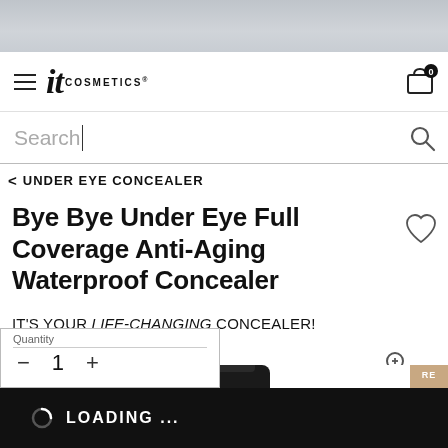[Figure (screenshot): Top grey gradient bar at top of mobile webpage]
IT Cosmetics navigation bar with hamburger menu, IT COSMETICS logo, and cart icon with 0 items
Search
< UNDER EYE CONCEALER
Bye Bye Under Eye Full Coverage Anti-Aging Waterproof Concealer
IT'S YOUR LIFE-CHANGING CONCEALER!
[Figure (photo): IT Cosmetics product tube (concealer) black packaging with IT logo, partially visible, and beige color swatch panel on the right edge]
Quantity
−  1  +
LOADING ...